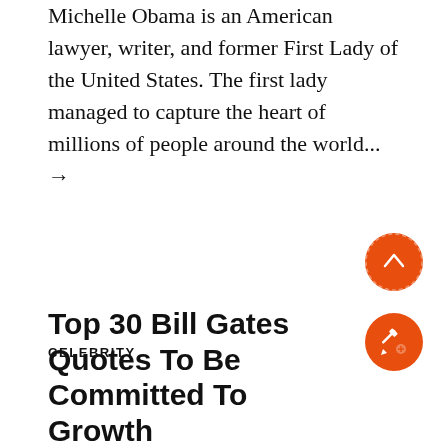Michelle Obama is an American lawyer, writer, and former First Lady of the United States. The first lady managed to capture the heart of millions of people around the world...
→
[Figure (illustration): Orange circular button with white upward chevron arrow icon]
CELEBRITY
[Figure (illustration): Orange circular button with white pencil/edit icon]
Top 30 Bill Gates Quotes To Be Committed To Growth